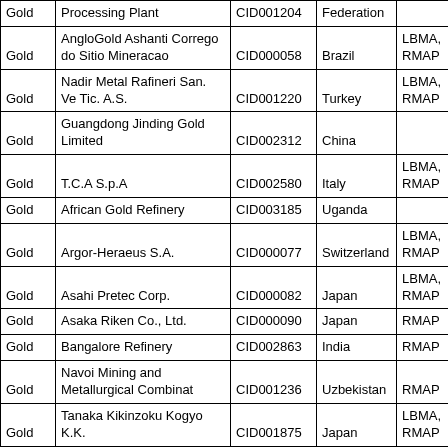| Gold | Processing Plant | CID001204 | Federation |  |
| Gold | AngloGold Ashanti Corrego do Sitio Mineracao | CID000058 | Brazil | LBMA, RMAP |
| Gold | Nadir Metal Rafineri San. Ve Tic. A.S. | CID001220 | Turkey | LBMA, RMAP |
| Gold | Guangdong Jinding Gold Limited | CID002312 | China |  |
| Gold | T.C.A S.p.A | CID002580 | Italy | LBMA, RMAP |
| Gold | African Gold Refinery | CID003185 | Uganda |  |
| Gold | Argor-Heraeus S.A. | CID000077 | Switzerland | LBMA, RMAP |
| Gold | Asahi Pretec Corp. | CID000082 | Japan | LBMA, RMAP |
| Gold | Asaka Riken Co., Ltd. | CID000090 | Japan | RMAP |
| Gold | Bangalore Refinery | CID002863 | India | RMAP |
| Gold | Navoi Mining and Metallurgical Combinat | CID001236 | Uzbekistan | RMAP |
| Gold | Tanaka Kikinzoku Kogyo K.K. | CID001875 | Japan | LBMA, RMAP |